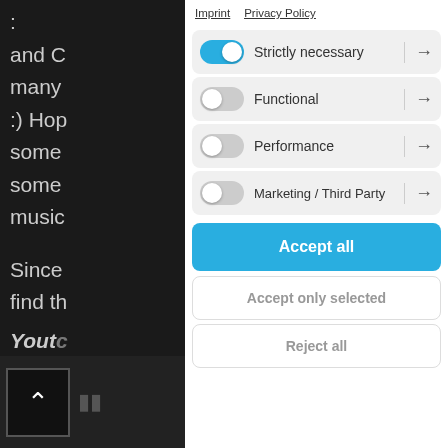Imprint   Privacy Policy
Strictly necessary → (toggle: on)
Functional → (toggle: off)
Performance → (toggle: off)
Marketing / Third Party → (toggle: off)
Accept all
Accept only selected
Reject all